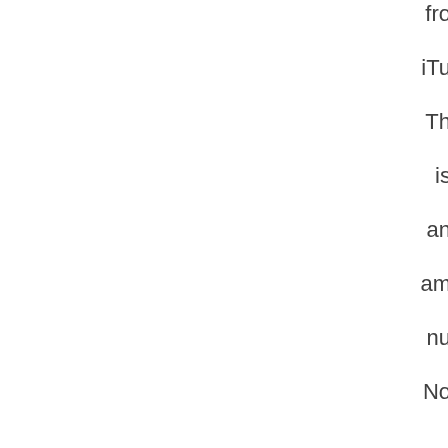fro
iTu
Th
is
an
am
nu
No
ve
sin
nu
fro
Oc
20
sa
tw
ou
of